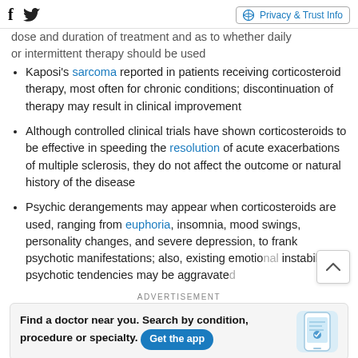Social icons: Facebook, Twitter | Privacy & Trust Info
dose and duration of treatment and as to whether daily or intermittent therapy should be used
Kaposi's sarcoma reported in patients receiving corticosteroid therapy, most often for chronic conditions; discontinuation of therapy may result in clinical improvement
Although controlled clinical trials have shown corticosteroids to be effective in speeding the resolution of acute exacerbations of multiple sclerosis, they do not affect the outcome or natural history of the disease
Psychic derangements may appear when corticosteroids are used, ranging from euphoria, insomnia, mood swings, personality changes, and severe depression, to frank psychotic manifestations; also, existing emotional instability or psychotic tendencies may be aggravated by corticosteroids
ADVERTISEMENT
[Figure (infographic): Advertisement banner: Find a doctor near you. Search by condition, procedure or specialty. Get the app button. Image of a phone showing a medical app.]